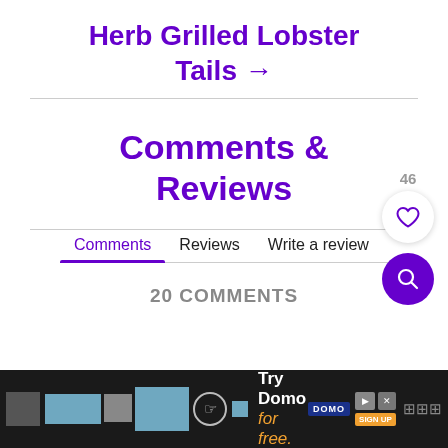Herb Grilled Lobster Tails →
Comments & Reviews
Comments   Reviews   Write a review
20 COMMENTS
[Figure (screenshot): Ad banner: Try Domo for free, with media player UI elements and dark background]